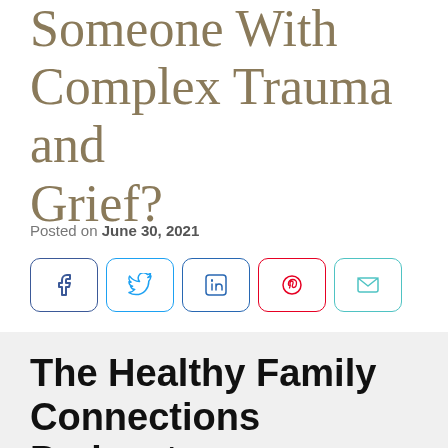Someone With Complex Trauma and Grief?
Posted on June 30, 2021
[Figure (infographic): Social share buttons for Facebook, Twitter, LinkedIn, Pinterest, and Email]
The Healthy Family Connections Podcast